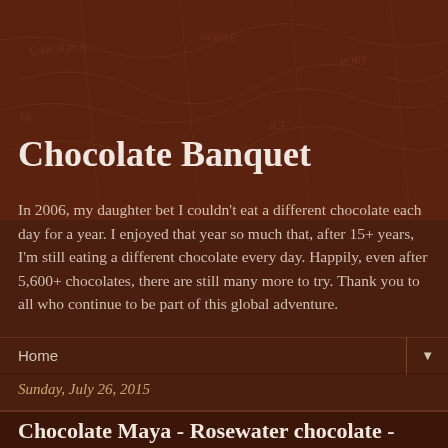Chocolate Banquet
In 2006, my daughter bet I couldn't eat a different chocolate each day for a year. I enjoyed that year so much that, after 15+ years, I'm still eating a different chocolate every day. Happily, even after 5,600+ chocolates, there are still many more to try. Thank you to all who continue to be part of this global adventure.
Home
Sunday, July 26, 2015
Chocolate Maya - Rosewater chocolate - July 25, 2015